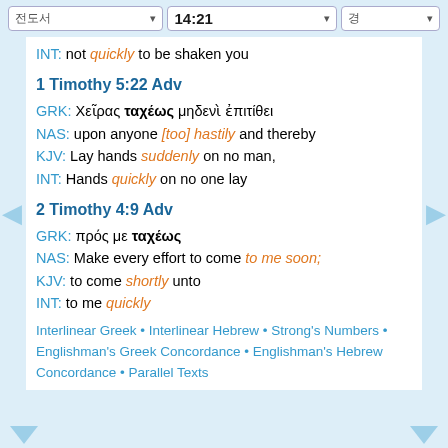전도서  14:21  경
INT: not quickly to be shaken you
1 Timothy 5:22 Adv
GRK: Χεῖρας ταχέως μηδενὶ ἐπιτίθει
NAS: upon anyone [too] hastily and thereby
KJV: Lay hands suddenly on no man,
INT: Hands quickly on no one lay
2 Timothy 4:9 Adv
GRK: πρός με ταχέως
NAS: Make every effort to come to me soon;
KJV: to come shortly unto
INT: to me quickly
Interlinear Greek • Interlinear Hebrew • Strong's Numbers • Englishman's Greek Concordance • Englishman's Hebrew Concordance • Parallel Texts